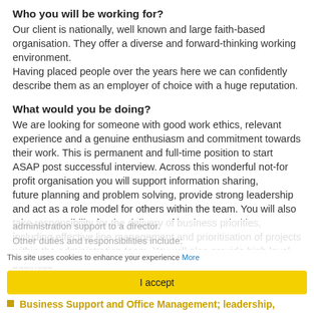Who you will be working for?
Our client is nationally, well known and large faith-based organisation.  They offer a diverse and forward-thinking working environment.
Having placed people over the years here we can confidently describe them as an employer of choice with a huge reputation.
What would you be doing?
We are looking for someone with good work ethics, relevant experience and a genuine enthusiasm and commitment towards their work. This is permanent and full-time position to start ASAP post successful interview. Across this wonderful not-for profit organisation you will support information sharing,
future planning and problem solving, provide strong leadership and act as a role model for others within the team.  You will also take responsibility for the delivery of business priorities, including effective line management and prioritisation of projects within the administration team.  You will also provide high level business administration support to a director.
Other duties and responsibilities include:
Business Support and Office Management; leadership,